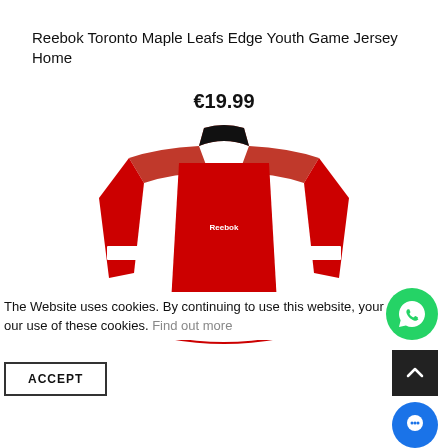Reebok Toronto Maple Leafs Edge Youth Game Jersey Home
€19.99
[Figure (photo): Red Reebok hockey jersey with white stripes on the sleeves, displayed on a white background. The jersey has a V-neck collar and 'Reebok' branding on the chest.]
The Website uses cookies. By continuing to use this website, your agree to our use of these cookies. Find out more
ACCEPT